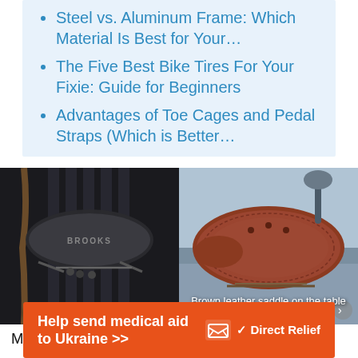Steel vs. Aluminum Frame: Which Material Is Best for Your…
The Five Best Bike Tires For Your Fixie: Guide for Beginners
Advantages of Toe Cages and Pedal Straps (Which is Better…
[Figure (photo): Brooks brothers black saddle - close-up of a black Brooks bicycle saddle with metal rails, dark background]
[Figure (photo): Brown leather saddle on the table - close-up of a brown leather bicycle saddle outdoors]
Most off-the-shelf fixie bikes come with a boring
[Figure (other): Advertisement banner: Help send medical aid to Ukraine >> Direct Relief]